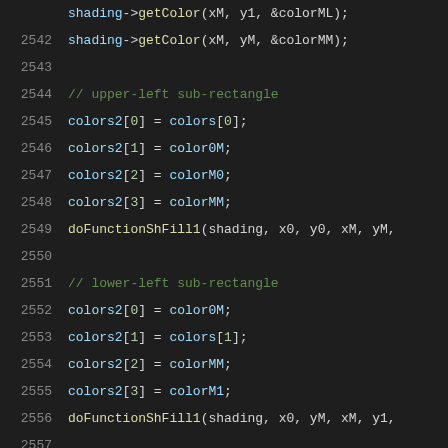[Figure (screenshot): Source code viewer showing C++ code lines 2542-2562 with syntax highlighting on a dark background. Code shows shading color operations and sub-rectangle fill function calls.]